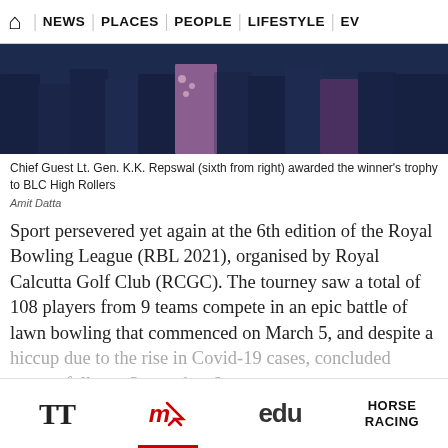HOME | NEWS | PLACES | PEOPLE | LIFESTYLE | EV
[Figure (photo): Group photo of people standing in a row, mostly showing lower half of bodies, dark indoor setting]
Chief Guest Lt. Gen. K.K. Repswal (sixth from right) awarded the winner's trophy to BLC High Rollers
Amit Datta
Sport persevered yet again at the 6th edition of the Royal Bowling League (RBL 2021), organised by Royal Calcutta Golf Club (RCGC). The tourney saw a total of 108 players from 9 teams compete in an epic battle of lawn bowling that commenced on March 5, and despite a hiccup due to the rise in Covid-19 cases, concluded successfully on September 6.
Lt. Gen. K.K. Repswal, Chief of Staff, Headquarters
TT | mk | edu | HORSE RACING